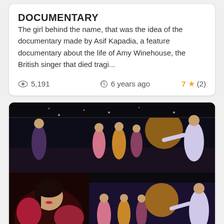DOCUMENTARY
The girl behind the name, that was the idea of the documentary made by Asif Kapadia, a feature documentary about the life of Amy Winehouse, the British singer that died tragi...
5,191   6 years ago   7 ★ (2)
[Figure (screenshot): Two overlapping thumbnail images: a small photo of a performer in red on the left, and a larger stage performance photo with women in period costumes, overlaid with a YouTube play button and duration 01:05:17]
MUSIC +1